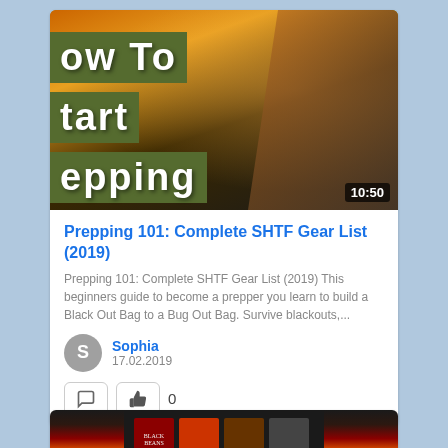[Figure (screenshot): Video thumbnail showing partial text 'ow To', 'tart', 'epping' on olive green banner with a man pointing finger upward, duration 10:50]
Prepping 101: Complete SHTF Gear List (2019)
Prepping 101: Complete SHTF Gear List (2019) This beginners guide to become a prepper you learn to build a Black Out Bag to a Bug Out Bag. Survive blackouts,...
Sophia
17.02.2019
[Figure (screenshot): Partial video thumbnail at bottom showing canned goods with dark background]